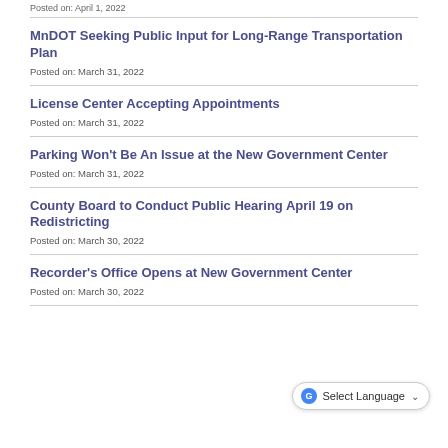Posted on: April 1, 2022
MnDOT Seeking Public Input for Long-Range Transportation Plan
Posted on: March 31, 2022
License Center Accepting Appointments
Posted on: March 31, 2022
Parking Won't Be An Issue at the New Government Center
Posted on: March 31, 2022
County Board to Conduct Public Hearing April 19 on Redistricting
Posted on: March 30, 2022
Recorder's Office Opens at New Government Center
Posted on: March 30, 2022